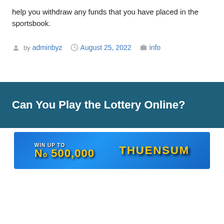help you withdraw any funds that you have placed in the sportsbook.
By adminbyz  August 25, 2022  info
Can You Play the Lottery Online?
[Figure (illustration): Lottery promotional banner with blue background showing 'WIN UP TO' text and 'THUENSUM' branding with yellow stylized text]